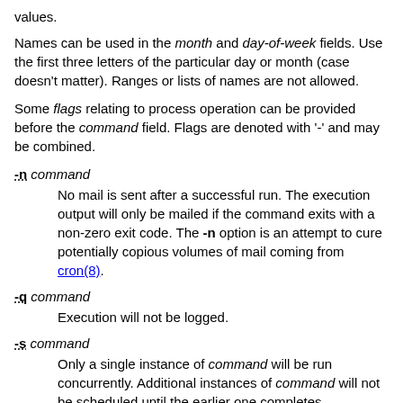values.
Names can be used in the month and day-of-week fields. Use the first three letters of the particular day or month (case doesn't matter). Ranges or lists of names are not allowed.
Some flags relating to process operation can be provided before the command field. Flags are denoted with '-' and may be combined.
-n command
No mail is sent after a successful run. The execution output will only be mailed if the command exits with a non-zero exit code. The -n option is an attempt to cure potentially copious volumes of mail coming from cron(8).
-q command
Execution will not be logged.
-s command
Only a single instance of command will be run concurrently. Additional instances of command will not be scheduled until the earlier one completes.
The command field (the rest of the line) is the command to be run. The entire command portion of the line, up to a newline % character, will be executed by /bin/sh or...